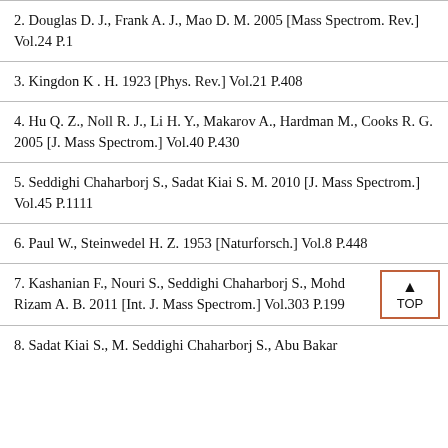2. Douglas D. J., Frank A. J., Mao D. M. 2005 [Mass Spectrom. Rev.] Vol.24 P.1
3. Kingdon K . H. 1923 [Phys. Rev.] Vol.21 P.408
4. Hu Q. Z., Noll R. J., Li H. Y., Makarov A., Hardman M., Cooks R. G. 2005 [J. Mass Spectrom.] Vol.40 P.430
5. Seddighi Chaharborj S., Sadat Kiai S. M. 2010 [J. Mass Spectrom.] Vol.45 P.1111
6. Paul W., Steinwedel H. Z. 1953 [Naturforsch.] Vol.8 P.448
7. Kashanian F., Nouri S., Seddighi Chaharborj S., Mohd Rizam A. B. 2011 [Int. J. Mass Spectrom.] Vol.303 P.199
8. Sadat Kiai S., M. Seddighi Chaharborj S., Abu Bakar